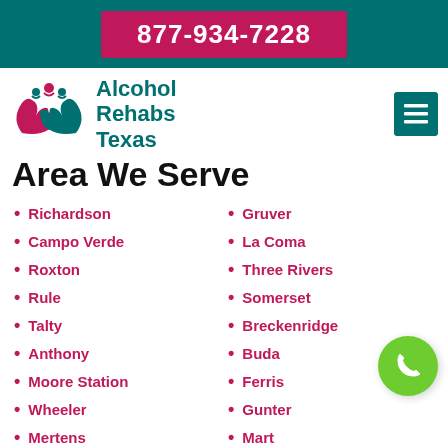877-934-7228
Alcohol Rehabs Texas
Area We Serve
Richardson
Campo Verde
Roxton
Rule
Talty
Anthony
Moore Station
Wheeler
Mertens
Canyon Lake
Megargel
Nocona Hills
Gruver
La Coma
Three Rivers
Somerset
Breckenridge
Buda
Ferris
Gunter
Mart
Hidalgo
Follett
Burton